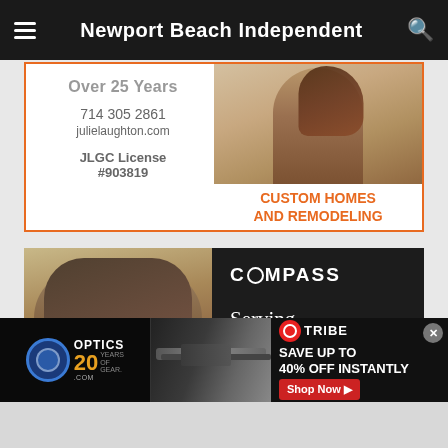Newport Beach Independent
[Figure (advertisement): JLGC custom homes and remodeling ad with woman photo. Over 25 Years, 714 305 2861, julielaughton.com, JLGC License #903819, CUSTOM HOMES AND REMODELING]
[Figure (advertisement): Compass real estate ad with man in suit photo. COMPASS. Serving Orange County and Los Angeles. Real Estate, Elevated.]
[Figure (advertisement): OpticsPlanet 20 years banner ad with Tribe logo. SAVE UP TO 40% OFF INSTANTLY. Shop Now button.]